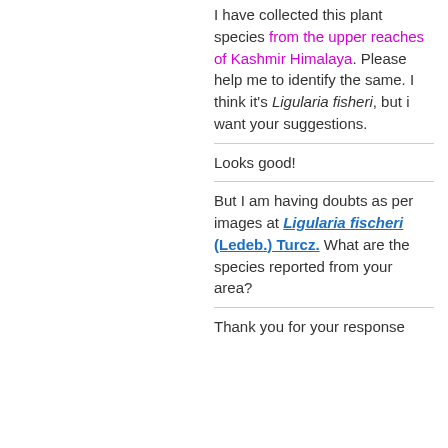I have collected this plant species from the upper reaches of Kashmir Himalaya. Please help me to identify the same. I think it's Ligularia fisheri, but i want your suggestions.
Looks good!
But I am having doubts as per images at Ligularia fischeri (Ledeb.) Turcz. What are the species reported from your area?
Thank you for your response